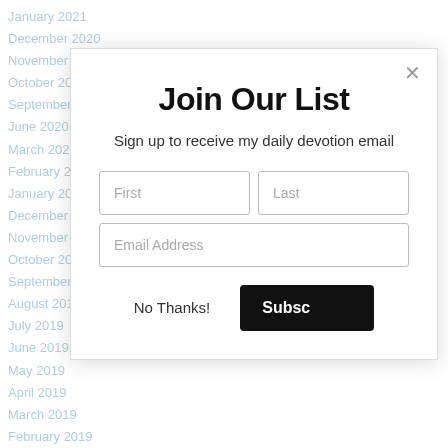January 2021
December 2020
November 2020
October 2020
September 2020
June 2020
March 2020
February 2020
January 2020
December 2019
November 2019
October 2019
September 2019
August 2019
July 2019
June 2019
May 2019
April 2019
March 2019
February 2019
Join Our List
Sign up to receive my daily devotion email
First
Last
Email Address
No Thanks!
Subscribe